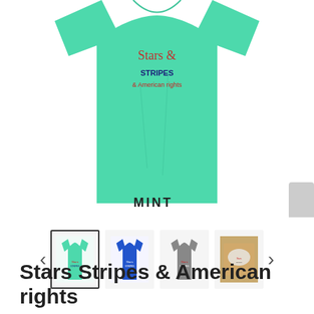[Figure (photo): A mint green t-shirt displayed flat with a script graphic design on the chest. The word MINT is printed below the shirt image. A small gray swatch is visible at the bottom right corner.]
[Figure (photo): Thumbnail gallery showing four t-shirt color variants: mint green (selected, with border), royal blue, gray, and a lifestyle/flat-lay photo. Left and right navigation arrows flank the thumbnails.]
Stars Stripes & American rights